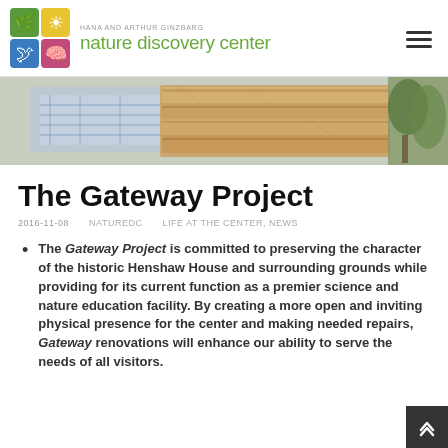[Figure (logo): Hana and Arthur Ginzburg Nature Discovery Center logo with colorful icon grid and green text]
[Figure (photo): Hero banner image showing architectural plans and wooden planks/boards]
The Gateway Project
2016-11-08    NATUREDC    LIFE AT THE CENTER, NEWS
The Gateway Project is committed to preserving the character of the historic Henshaw House and surrounding grounds while providing for its current function as a premier science and nature education facility. By creating a more open and inviting physical presence for the center and making needed repairs, Gateway renovations will enhance our ability to serve the needs of all visitors.